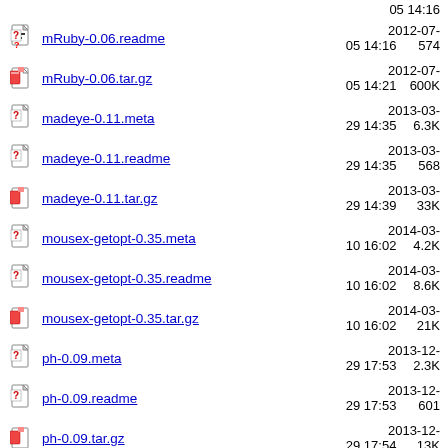(partial top) 05 14:16
mRuby-0.06.readme  2012-07-05 14:16  574
mRuby-0.06.tar.gz  2012-07-05 14:21  600K
madeye-0.11.meta  2013-03-29 14:35  6.3K
madeye-0.11.readme  2013-03-29 14:35  568
madeye-0.11.tar.gz  2013-03-29 14:39  33K
mousex-getopt-0.35.meta  2014-03-10 16:02  4.2K
mousex-getopt-0.35.readme  2014-03-10 16:02  8.6K
mousex-getopt-0.35.tar.gz  2014-03-10 16:02  21K
ph-0.09.meta  2013-12-29 17:53  2.3K
ph-0.09.readme  2013-12-29 17:53  601
ph-0.09.tar.gz  2013-12-29 17:54  13K